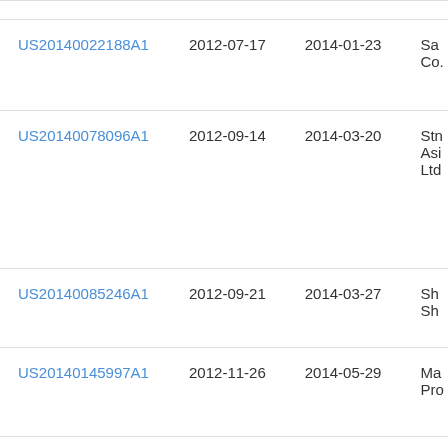| Patent Number | Filed | Published | Assignee |
| --- | --- | --- | --- |
| US20140022188A1 | 2012-07-17 | 2014-01-23 | Sa... Co. |
| US20140078096A1 | 2012-09-14 | 2014-03-20 | Stn... Asi... Ltd |
| US20140085246A1 | 2012-09-21 | 2014-03-27 | Sh... Sh... |
| US20140145997A1 | 2012-11-26 | 2014-05-29 | Ma... Pro... |
| US20140146006A1 | 2010-11-08 | 2014-05-29 | Na... |